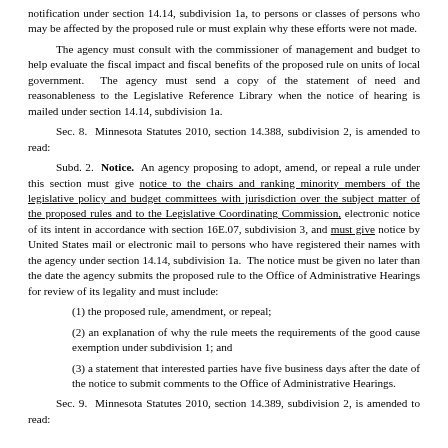notification under section 14.14, subdivision 1a, to persons or classes of persons who may be affected by the proposed rule or must explain why these efforts were not made.
The agency must consult with the commissioner of management and budget to help evaluate the fiscal impact and fiscal benefits of the proposed rule on units of local government. The agency must send a copy of the statement of need and reasonableness to the Legislative Reference Library when the notice of hearing is mailed under section 14.14, subdivision 1a.
Sec. 8. Minnesota Statutes 2010, section 14.388, subdivision 2, is amended to read:
Subd. 2. Notice. An agency proposing to adopt, amend, or repeal a rule under this section must give notice to the chairs and ranking minority members of the legislative policy and budget committees with jurisdiction over the subject matter of the proposed rules and to the Legislative Coordinating Commission, electronic notice of its intent in accordance with section 16E.07, subdivision 3, and must give notice by United States mail or electronic mail to persons who have registered their names with the agency under section 14.14, subdivision 1a. The notice must be given no later than the date the agency submits the proposed rule to the Office of Administrative Hearings for review of its legality and must include:
(1) the proposed rule, amendment, or repeal;
(2) an explanation of why the rule meets the requirements of the good cause exemption under subdivision 1; and
(3) a statement that interested parties have five business days after the date of the notice to submit comments to the Office of Administrative Hearings.
Sec. 9. Minnesota Statutes 2010, section 14.389, subdivision 2, is amended to read: